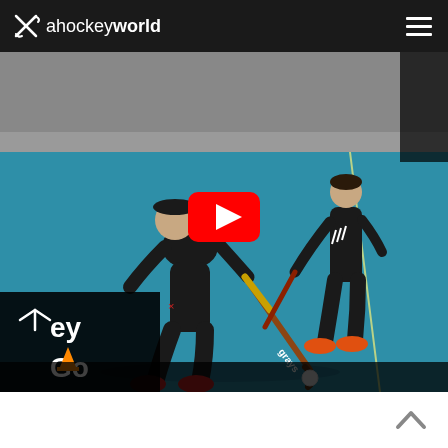ahockeyworld
[Figure (screenshot): Video thumbnail of two field hockey players on a blue artificial turf court. One player in black tracksuit and red shoes holds a Grays hockey stick and is in a low stance controlling a white ball. A second player stands behind. A YouTube play button is overlaid in the center. In the bottom-left corner is a partially visible overlay with text 'ey Go' and hockey ball/cone graphics.]
[Figure (other): Back-to-top chevron arrow icon in bottom right corner]